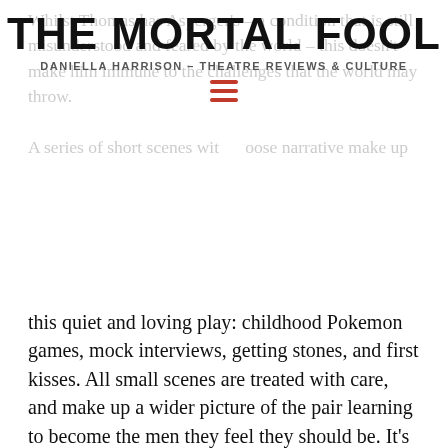THE MORTAL FOOL
DANIELLA HARRISON – THEATRE REVIEWS & CULTURE
Whilst Thomas has Asperger's – a condition that is still misunderstood and feared by the world – this doesn't make him immune to the challenges that the world may throw.
A series of short scenes with a loose narrative make up this quiet and loving play: childhood Pokemon games, mock interviews, getting stones, and first kisses. All small scenes are treated with care, and make up a wider picture of the pair learning to become the men they feel they should be. It's alike to Greta Gerwig's film Ladybird – though there is a throughline, it doesn't dominate the play. Instead, it quietly simmers as we return to it with a new awareness based on past moments in the pair's almost shared life.
Robbie Curran and Ben Lydon's chemistry and camaraderie on stage as Thomas and David is beautiful. There are equal doses of care, love, and the annoyance